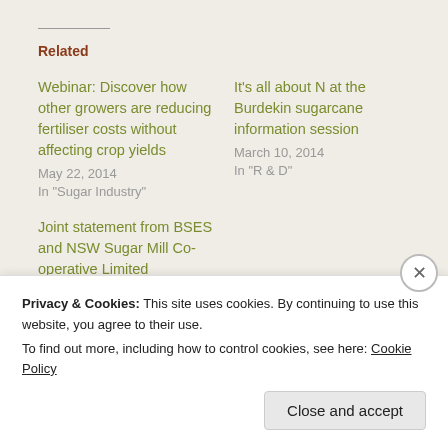Related
Webinar: Discover how other growers are reducing fertiliser costs without affecting crop yields
May 22, 2014
In "Sugar Industry"
It's all about N at the Burdekin sugarcane information session
March 10, 2014
In "R & D"
Joint statement from BSES and NSW Sugar Mill Co-operative Limited
July 10, 2013
In "R & D"
Privacy & Cookies: This site uses cookies. By continuing to use this website, you agree to their use.
To find out more, including how to control cookies, see here: Cookie Policy